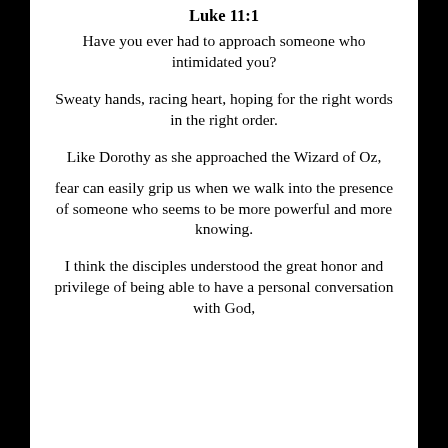Luke 11:1
Have you ever had to approach someone who intimidated you?
Sweaty hands, racing heart, hoping for the right words in the right order.
Like Dorothy as she approached the Wizard of Oz,
fear can easily grip us when we walk into the presence of someone who seems to be more powerful and more knowing.
I think the disciples understood the great honor and privilege of being able to have a personal conversation with God,